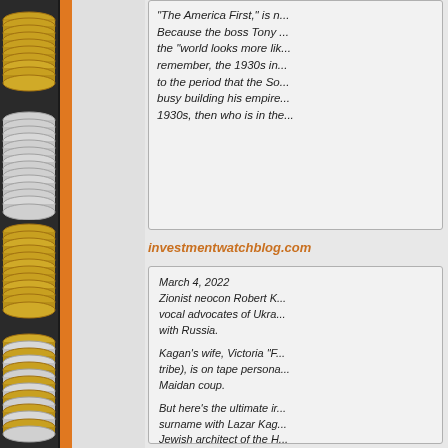[Figure (photo): Left column showing stacked gold and silver coins arranged vertically with an orange vertical stripe divider]
"The America First," is n... Because the boss Tony ... the "world looks more lik... remember, the 1930s in... to the period that the So... busy building his empire... 1930s, then who is in the...
investmentwatchblog.com
March 4, 2022
Zionist neocon Robert K... vocal advocates of Ukra... with Russia.

Kagan's wife, Victoria "F... tribe), is on tape persona... Maidan coup.

But here's the ultimate ir... surname with Lazar Kag... Jewish architect of the H...

Not only are Ukrainian n... the name of avenging th... behalf of the ethnic grou... cases like Kagan, they a... same bloodlines of the r...